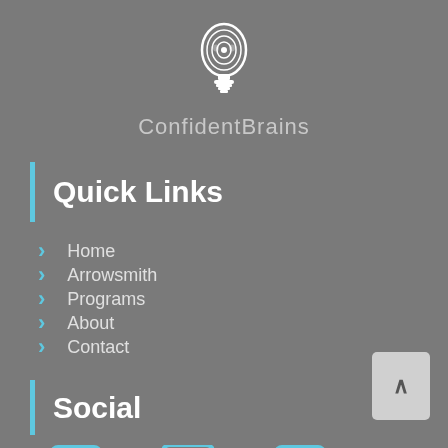[Figure (logo): ConfidentBrains logo: brain with circuit/lightbulb icon in white]
ConfidentBrains
Quick Links
Home
Arrowsmith
Programs
About
Contact
Social
[Figure (illustration): Social media icons: Facebook, Instagram, LinkedIn in blue]